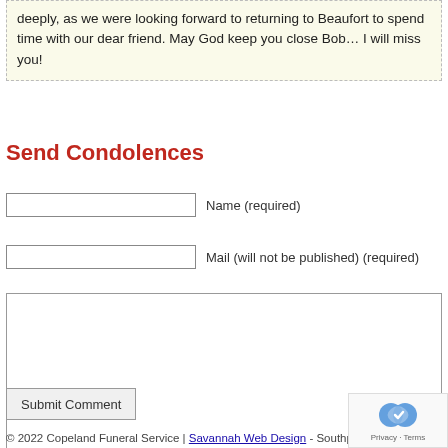deeply, as we were looking forward to returning to Beaufort to spend time with our dear friend. May God keep you close Bob… I will miss you!
Send Condolences
Name (required)
Mail (will not be published) (required)
Submit Comment
© 2022 Copeland Funeral Service | Savannah Web Design - Southpoint Me…